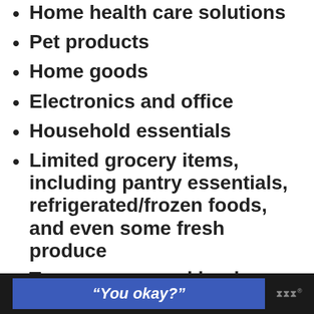Home health care solutions
Pet products
Home goods
Electronics and office
Household essentials
Limited grocery items, including pantry essentials, refrigerated/frozen foods, and even some fresh produce
Toys, games, and books
Baby and kid stuff
Gift cards
“You okay?”